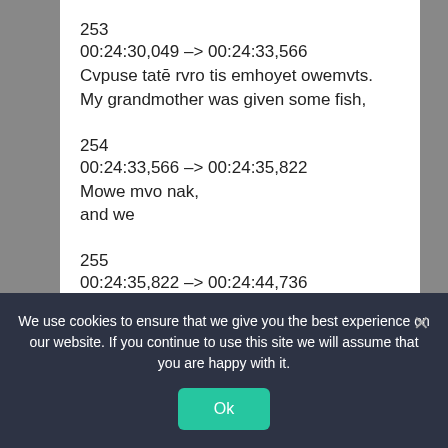253
00:24:30,049 –> 00:24:33,566
Cvpuse tatē rvro tis emhoyet owemvts.
My grandmother was given some fish,
254
00:24:33,566 –> 00:24:35,822
Mowe mvo nak,
and we
255
00:24:35,822 –> 00:24:44,736
nak lokcicat hiyowe nak ocit os. Cēmeu svyepvs kicen
hiyowen este fullaket owemvts. Hiyowat tat este
We use cookies to ensure that we give you the best experience on our website. If you continue to use this site we will assume that you are happy with it.